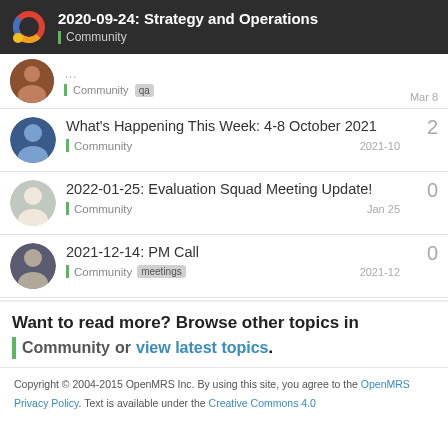2020-09-24: Strategy and Operations | Community
Community | qa | Mar 8
What's Happening This Week: 4-8 October 2021 | Community | 2021-10 | replies: 2
2022-01-25: Evaluation Squad Meeting Update! | Community | Jan 25 | replies: 0
2021-12-14: PM Call | Community | meetings | 2021-12 | replies: 0
Want to read more? Browse other topics in Community or view latest topics.
Copyright © 2004-2015 OpenMRS Inc. By using this site, you agree to the OpenMRS Privacy Policy. Text is available under the Creative Commons 4.0